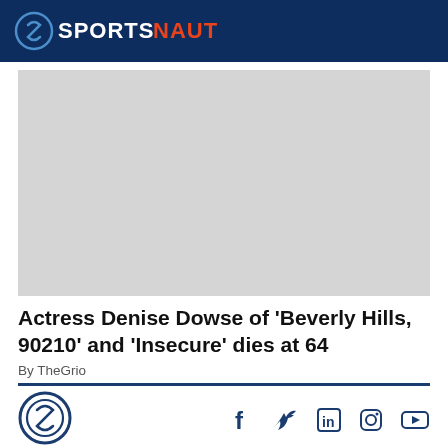SPORTSNAUT
[Figure (photo): Gray placeholder image for article photo]
Actress Denise Dowse of 'Beverly Hills, 90210' and 'Insecure' dies at 64
By TheGrio
[Figure (logo): Sportsnaut logo icon (S emblem) in footer]
[Figure (infographic): Social media icons: Facebook, Twitter, LinkedIn, Instagram, YouTube]